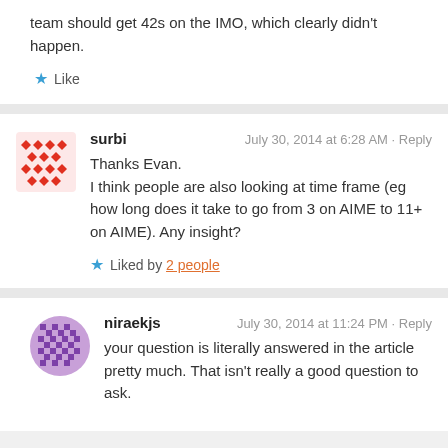team should get 42s on the IMO, which clearly didn't happen.
Like
surbi · July 30, 2014 at 6:28 AM · Reply
Thanks Evan.
I think people are also looking at time frame (eg how long does it take to go from 3 on AIME to 11+ on AIME). Any insight?
Liked by 2 people
niraekjs · July 30, 2014 at 11:24 PM · Reply
your question is literally answered in the article pretty much. That isn't really a good question to ask.